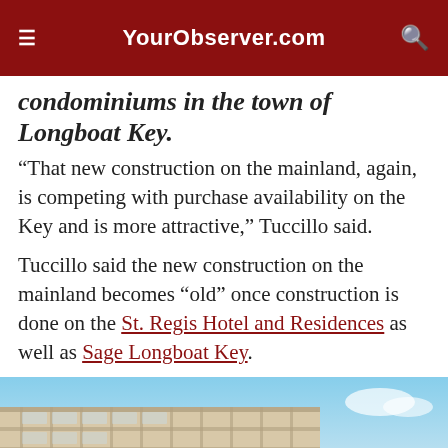YourObserver.com
condominiums in the town of Longboat Key.
“That new construction on the mainland, again, is competing with purchase availability on the Key and is more attractive,” Tuccillo said.
Tuccillo said the new construction on the mainland becomes “old” once construction is done on the St. Regis Hotel and Residences as well as Sage Longboat Key.
[Figure (photo): Exterior photo of a modern luxury condominium building with glass balconies beside turquoise water under a blue sky.]